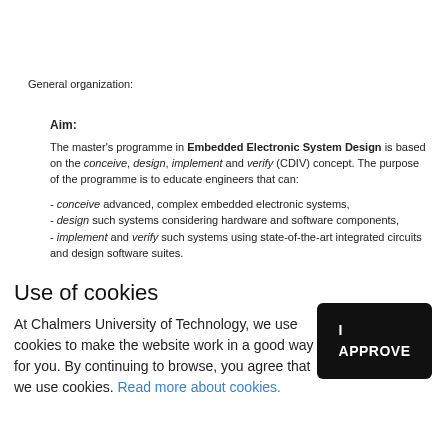General organization:
Aim:
The master’s programme in Embedded Electronic System Design is based on the conceive, design, implement and verify (CDIV) concept. The purpose of the programme is to educate engineers that can:
- conceive advanced, complex embedded electronic systems,
- design such systems considering hardware and software components,
- implement and verify such systems using state-of-the-art integrated circuits and design software suites.
Use of cookies
At Chalmers University of Technology, we use cookies to make the website work in a good way for you. By continuing to browse, you agree that we use cookies. Read more about cookies.
I APPROVE